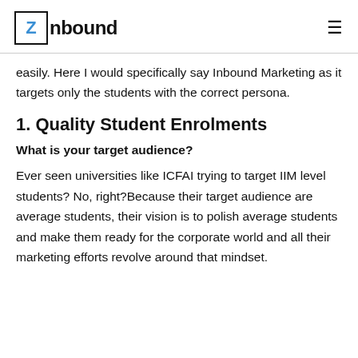Znbound
easily. Here I would specifically say Inbound Marketing as it targets only the students with the correct persona.
1. Quality Student Enrolments
What is your target audience?
Ever seen universities like ICFAI trying to target IIM level students? No, right?Because their target audience are average students, their vision is to polish average students and make them ready for the corporate world and all their marketing efforts revolve around that mindset.